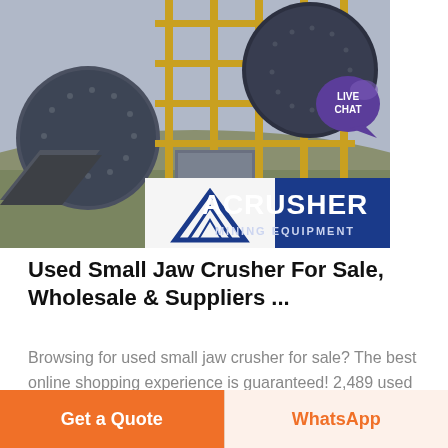[Figure (photo): Industrial mining equipment scene showing large ball mills, conveyor frames, yellow scaffolding, and the ACRUSHER MINING EQUIPMENT branding logo overlay at the bottom. A 'LIVE CHAT' speech bubble icon is in the upper right corner.]
Used Small Jaw Crusher For Sale, Wholesale & Suppliers ...
Browsing for used small jaw crusher for sale? The best online shopping experience is guaranteed! 2,489 used small jaw crusher products from 829 used small jaw crusher suppliers